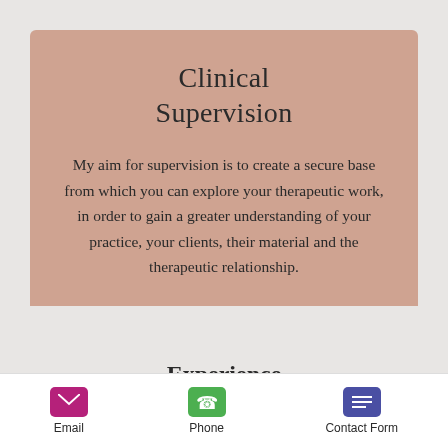Clinical Supervision
My aim for supervision is to create a secure base from which you can explore your therapeutic work, in order to gain a greater understanding of your practice, your clients, their material and the therapeutic relationship.
Read More
Experience
Email  Phone  Contact Form